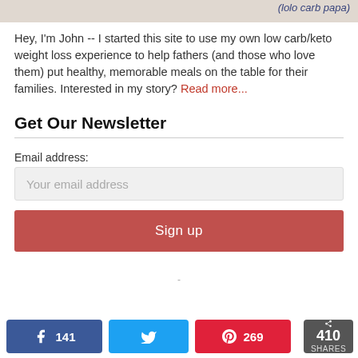[Figure (photo): Partial photo strip at top with cursive text overlay reading '(lolo carb papa)']
Hey, I'm John -- I started this site to use my own low carb/keto weight loss experience to help fathers (and those who love them) put healthy, memorable meals on the table for their families. Interested in my story? Read more...
Get Our Newsletter
Email address:
Your email address
Sign up
141  [Twitter]  269  < 410 SHARES